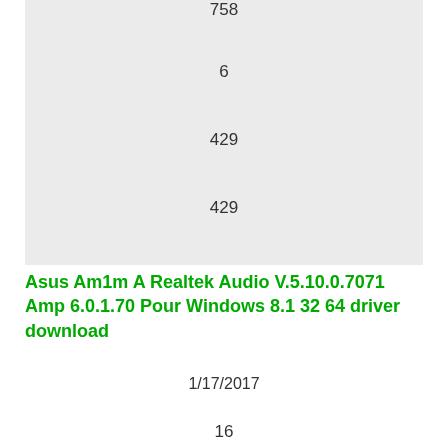758
6
429
429
Asus Am1m A Realtek Audio V.5.10.0.7071 Amp 6.0.1.70 Pour Windows 8.1 32 64 driver download
1/17/2017
16